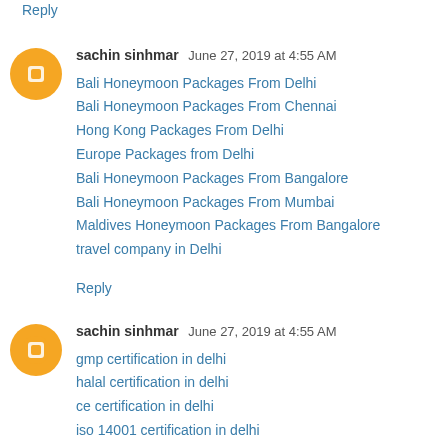Reply
sachin sinhmar  June 27, 2019 at 4:55 AM
Bali Honeymoon Packages From Delhi
Bali Honeymoon Packages From Chennai
Hong Kong Packages From Delhi
Europe Packages from Delhi
Bali Honeymoon Packages From Bangalore
Bali Honeymoon Packages From Mumbai
Maldives Honeymoon Packages From Bangalore
travel company in Delhi
Reply
sachin sinhmar  June 27, 2019 at 4:55 AM
gmp certification in delhi
halal certification in delhi
ce certification in delhi
iso 14001 certification in delhi
iso 22000 certification in delhi
iso 27001 certification in delhi